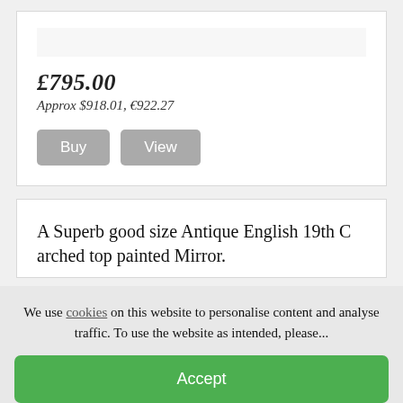£795.00
Approx $918.01, €922.27
Buy
View
A Superb good size Antique English 19th C arched top painted Mirror.
We use cookies on this website to personalise content and analyse traffic. To use the website as intended, please...
Accept